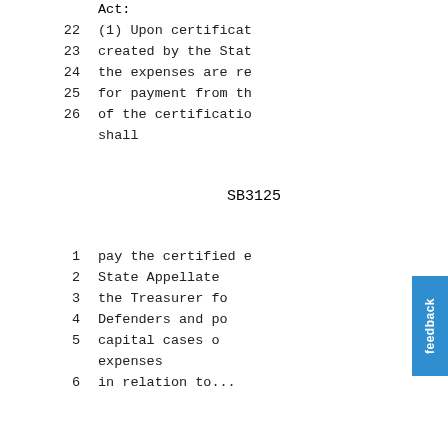Act:
22    (1) Upon certificat
23    created by the Stat
24    the expenses are re
25    for payment from th
26    of the certificatio
      shall
SB3125
1     pay the certified e
2     State Appellate
3     the Treasurer fo
4     Defenders and po
5     capital cases o
      expenses
6     in relation to...